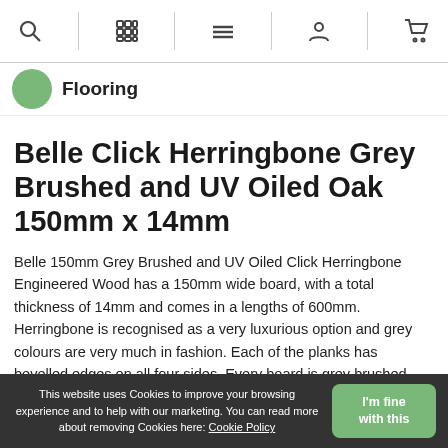Navigation bar with search, grid, menu, profile, and cart icons
Flooring
Belle Click Herringbone Grey Brushed and UV Oiled Oak 150mm x 14mm
Belle 150mm Grey Brushed and UV Oiled Click Herringbone Engineered Wood has a 150mm wide board, with a total thickness of 14mm and comes in a lengths of 600mm. Herringbone is recognised as a very luxurious option and grey colours are very much in fashion. Each of the planks has bevelled edges on all four sides. Every board is grey brushed and finished with a UV Oil which gives the plank a
This website uses Cookies to improve your browsing experience and to help with our marketing. You can read more about removing Cookies here: Cookie Policy  I'm fine with this